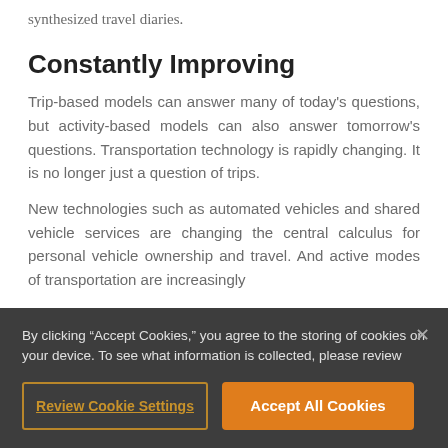synthesized travel diaries.
Constantly Improving
Trip-based models can answer many of today's questions, but activity-based models can also answer tomorrow's questions. Transportation technology is rapidly changing. It is no longer just a question of trips.
New technologies such as automated vehicles and shared vehicle services are changing the central calculus for personal vehicle ownership and travel. And active modes of transportation are increasingly
By clicking “Accept Cookies,” you agree to the storing of cookies on your device. To see what information is collected, please review
Review Cookie Settings
Accept All Cookies